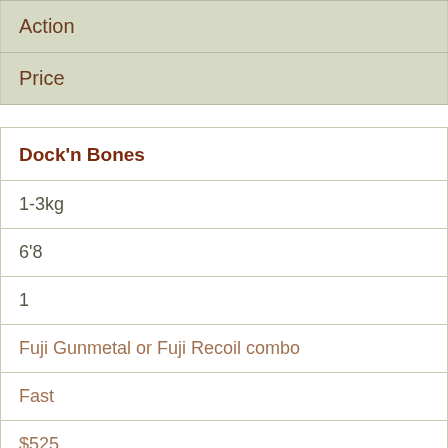| Action |
| Price |
| Dock'n Bones |
| --- |
| 1-3kg |
| 6'8 |
| 1 |
| Fuji Gunmetal or Fuji Recoil combo |
| Fast |
| $525 |